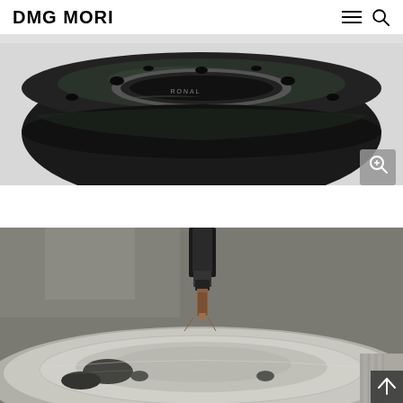DMG MORI
[Figure (photo): Close-up photo of a black anodized aluminum ring/disc component (wheel hub or brake component) with circular hole in center and several bolt holes around the perimeter, labeled RONAL, on a light background. Zoom icon in bottom-right corner.]
[Figure (photo): Close-up photo of a CNC milling machine cutting/machining a shiny aluminum wheel or hub component. The spindle and tool are visible at top, machining the circular aluminum part. Scroll-to-top icon in bottom-right corner.]